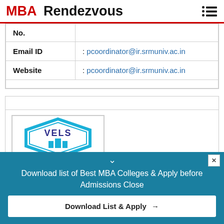MBA Rendezvous
| No. |  |
| Email ID | : pcoordinator@ir.srmuniv.ac.in |
| Website | : pcoordinator@ir.srmuniv.ac.in |
|  |  |
[Figure (logo): VELS university logo with blue hexagonal shield design]
Download list of Best MBA Colleges & Apply before Admissions Close
Download List & Apply →